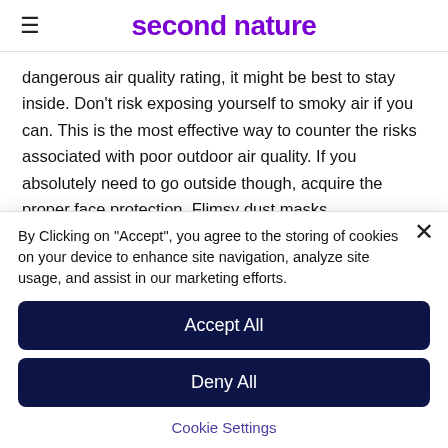second nature
dangerous air quality rating, it might be best to stay inside. Don't risk exposing yourself to smoky air if you can. This is the most effective way to counter the risks associated with poor outdoor air quality. If you absolutely need to go outside though, acquire the proper face protection. Flimsy dust masks
By Clicking on "Accept", you agree to the storing of cookies on your device to enhance site navigation, analyze site usage, and assist in our marketing efforts.
Accept All
Deny All
Cookie Settings